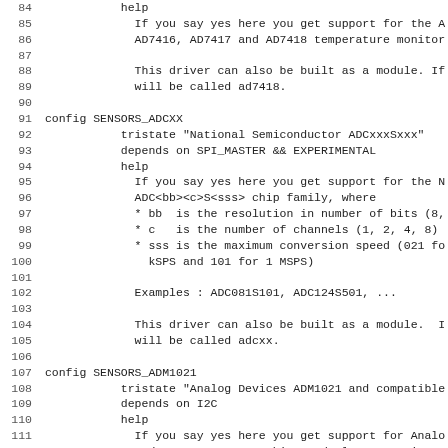Source code / configuration file excerpt showing Linux kernel Kconfig entries for hardware sensor drivers (SENSORS_ADCXX, SENSORS_ADM1021), lines 84–115.